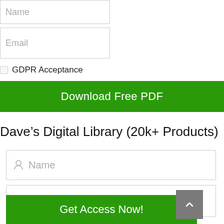Name
Email
GDPR Acceptance
Download Free PDF
Dave’s Digital Library (20k+ Products)
Name
Email
Get Access Now!